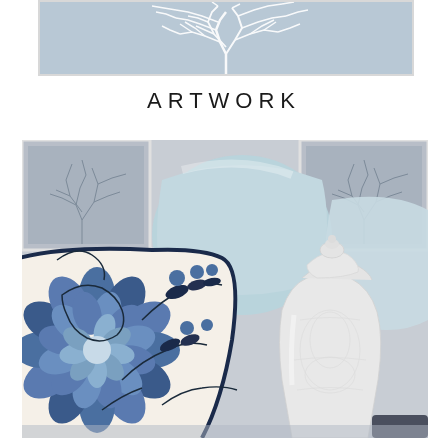[Figure (photo): Top partial image showing a framed artwork with white tree branches on a blue-grey background]
ARTWORK
[Figure (photo): Decorative interior photo showing blue and white floral patterned cushions/pillows with a white ceramic ginger jar vase, framed botanical artwork on grey wall in background]